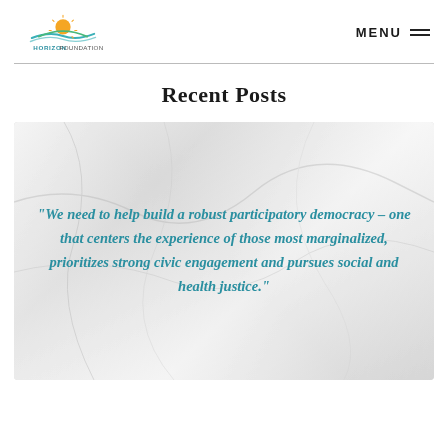[Figure (logo): Horizon Foundation logo with a stylized sun and water graphic above the text HORIZON FOUNDATION]
Recent Posts
[Figure (illustration): Marble-textured background card with teal italic quote text: "We need to help build a robust participatory democracy – one that centers the experience of those most marginalized, prioritizes strong civic engagement and pursues social and health justice."]